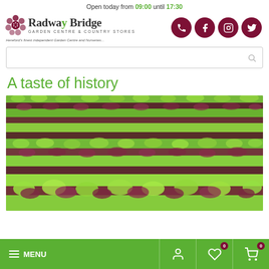Open today from 09:00 until 17:30
[Figure (logo): Radway Bridge Garden Centre & Country Stores logo with flower graphic and tagline]
[Figure (infographic): Social media icons: phone, Facebook, Instagram, Twitter in dark red circles]
[Figure (other): Search bar with magnifying glass icon]
A taste of history
[Figure (photo): Rows of green and red/purple lettuce plants in a field, aerial/close-up view]
MENU | account icon | wishlist icon (0) | cart icon (0)